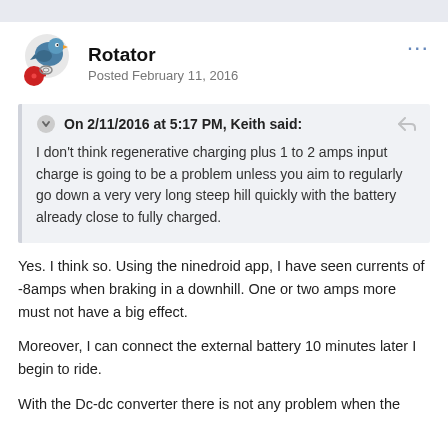[Figure (illustration): User avatar icon showing a cartoon bird/character with a red gear badge]
Rotator
Posted February 11, 2016
On 2/11/2016 at 5:17 PM, Keith said:
I don't think regenerative charging plus 1 to 2 amps input charge is going to be a problem unless you aim to regularly go down a very very long steep hill quickly with the battery already close to fully charged.
Yes. I think so. Using the ninedroid app, I have seen currents of -8amps when braking in a downhill. One or two amps more must not have a big effect.
Moreover, I can connect the external battery 10 minutes later I begin to ride.
With the Dc-dc converter there is not any problem when the